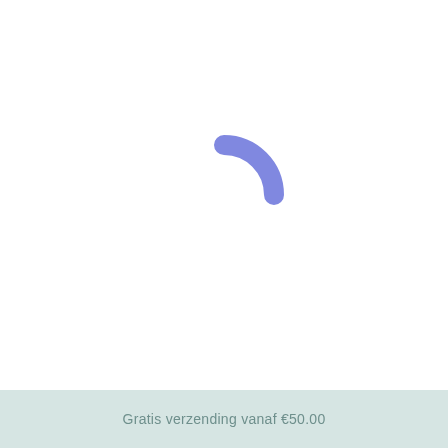[Figure (other): Loading spinner arc — a quarter-circle arc shape in medium blue-purple (#7b82e0), positioned slightly left of center, indicating a loading/spinner animation state.]
Gratis verzending vanaf €50.00